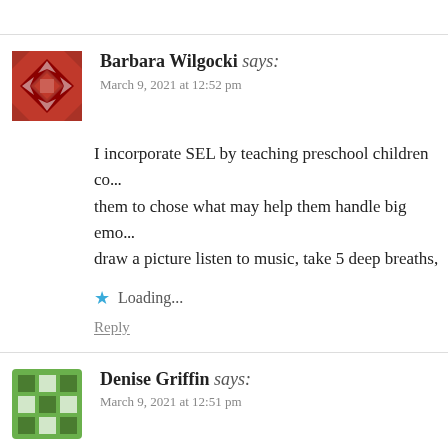[Figure (illustration): Red geometric quilt-pattern avatar icon for Barbara Wilgocki]
Barbara Wilgocki says:
March 9, 2021 at 12:52 pm
I incorporate SEL by teaching preschool children co...them to chose what may help them handle big emo...draw a picture listen to music, take 5 deep breaths,
Loading...
Reply
[Figure (illustration): Green geometric grid-pattern avatar icon for Denise Griffin]
Denise Griffin says:
March 9, 2021 at 12:51 pm
Make it part of your class routine every day. From c...questions to replacement behaviors to KWL charts...ways that we can address these skills. Center an act...